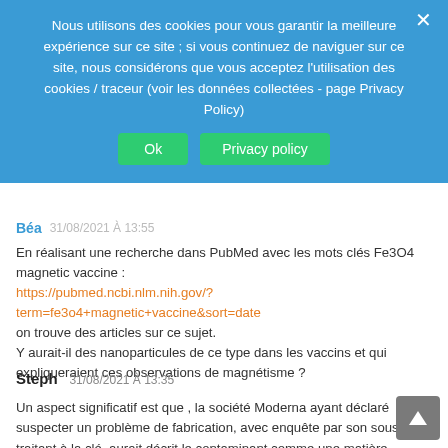[Figure (screenshot): Cookie consent banner with blue background, text in French about cookie usage, two green buttons labeled 'Ok' and 'Privacy policy', and a close X button.]
Béa
En réalisant une recherche dans PubMed avec les mots clés Fe3O4 magnetic vaccine : https://pubmed.ncbi.nlm.nih.gov/?term=fe3o4+magnetic+vaccine&sort=date on trouve des articles sur ce sujet.
Y aurait-il des nanoparticules de ce type dans les vaccins et qui expliqueraient ces observations de magnétisme ?
Steph 31/08/2021 À 13:35
Un aspect significatif est que , la société Moderna ayant déclaré suspecter un problème de fabrication, avec enquête par son sous-traitant à la clé, aurait décrit le contaminant comme une matière particulaire qui ne poserait pas de problème d'innocuité ou d'efficacité.